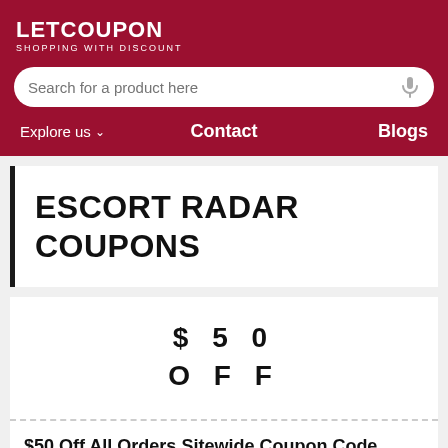LETCOUPON
SHOPPING WITH DISCOUNT
[Figure (screenshot): Search bar with microphone icon on dark red background]
Explore us  Contact  Blogs
ESCORT RADAR COUPONS
$50 OFF
$50 Off All Orders Sitewide Coupon Code
Get $50 Off All Orders Sitewide Coupon Code